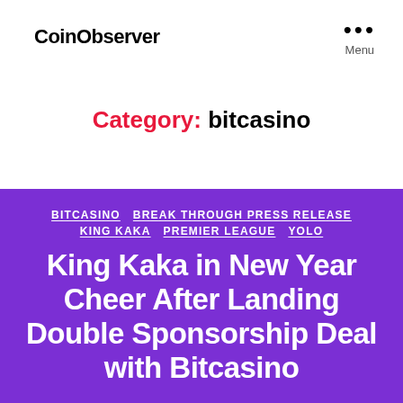CoinObserver
Menu
Category: bitcasino
BITCASINO  BREAK THROUGH PRESS RELEASE  KING KAKA  PREMIER LEAGUE  YOLO
King Kaka in New Year Cheer After Landing Double Sponsorship Deal with Bitcasino